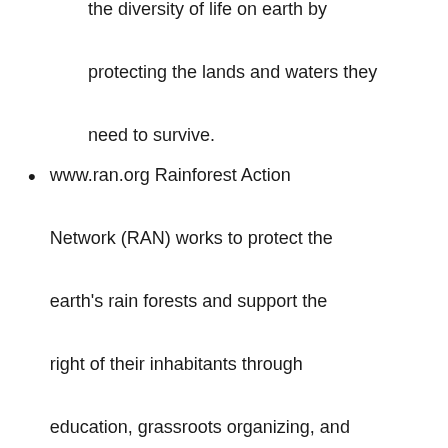the diversity of life on earth by protecting the lands and waters they need to survive.
www.ran.org Rainforest Action Network (RAN) works to protect the earth's rain forests and support the right of their inhabitants through education, grassroots organizing, and non-violent direct action.
www.ruckus.org The mission of The Ruckus Society is to provide information, experience, training and skills in the use of non-violent direct action to a growing number of activist